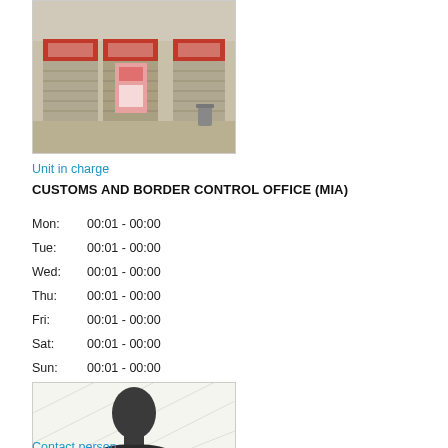[Figure (photo): Photo of a customs and border control office building exterior with red signage]
Unit in charge
CUSTOMS AND BORDER CONTROL OFFICE (MIA)
Mon: 00:01 - 00:00
Tue: 00:01 - 00:00
Wed: 00:01 - 00:00
Thu: 00:01 - 00:00
Fri: 00:01 - 00:00
Sat: 00:01 - 00:00
Sun: 00:01 - 00:00
[Figure (photo): Silhouette placeholder profile photo of a person in formal attire with a blue badge]
Contact person